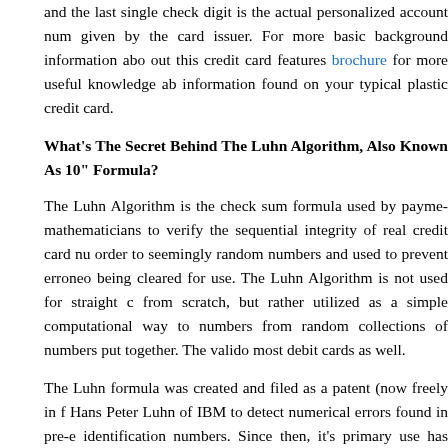and the last single check digit is the actual personalized account number given by the card issuer. For more basic background information about this credit card features brochure for more useful knowledge about information found on your typical plastic credit card.
What's The Secret Behind The Luhn Algorithm, Also Known As The "Mod 10" Formula?
The Luhn Algorithm is the check sum formula used by payment mathematicians to verify the sequential integrity of real credit card numbers in order to seemingly random numbers and used to prevent erroneous cards from being cleared for use. The Luhn Algorithm is not used for straight creation from scratch, but rather utilized as a simple computational way to separate real numbers from random collections of numbers put together. The validation works for most debit cards as well.
The Luhn formula was created and filed as a patent (now freely in the public) by Hans Peter Luhn of IBM to detect numerical errors found in pre-existing identification numbers. Since then, it's primary use has been in the field and made popular with its use to verify the validity of important sequences of numbers. Currently, almost all credit card numbers issued today are generated using Luhn Algorithm or Modulus, Mod-10 Formula. Needless to say, if you come across card numbers that fail the Luhn algorithm when put to the test, it is safe